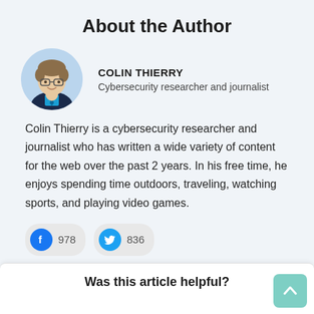About the Author
[Figure (photo): Circular portrait photo of Colin Thierry, a cybersecurity researcher and journalist]
COLIN THIERRY
Cybersecurity researcher and journalist
Colin Thierry is a cybersecurity researcher and journalist who has written a wide variety of content for the web over the past 2 years. In his free time, he enjoys spending time outdoors, traveling, watching sports, and playing video games.
978  836
Was this article helpful?